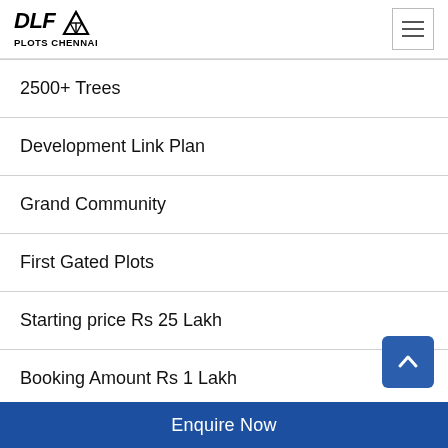DLF PLOTS CHENNAI
2500+ Trees
Development Link Plan
Grand Community
First Gated Plots
Starting price Rs 25 Lakh
Booking Amount Rs 1 Lakh
Enquire Now